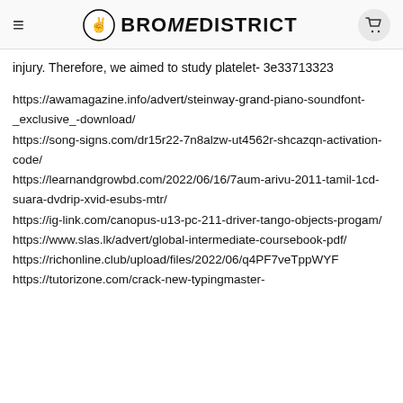≡ BROMEDISTRICT 🛒
injury. Therefore, we aimed to study platelet- 3e33713323
https://awamagazine.info/advert/steinway-grand-piano-soundfont-_exclusive_-download/
https://song-signs.com/dr15r22-7n8alzw-ut4562r-shcazqn-activation-code/
https://learnandgrowbd.com/2022/06/16/7aum-arivu-2011-tamil-1cd-suara-dvdrip-xvid-esubs-mtr/
https://ig-link.com/canopus-u13-pc-211-driver-tango-objects-progam/
https://www.slas.lk/advert/global-intermediate-coursebook-pdf/
https://richonline.club/upload/files/2022/06/q4PF7veTppWYF
https://tutorizone.com/crack-new-typingmaster-